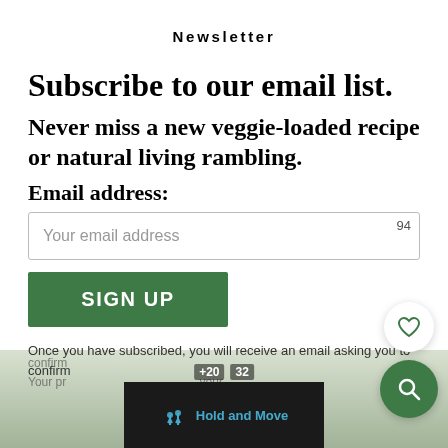Newsletter
Subscribe to our email list.
Never miss a new veggie-loaded recipe or natural living rambling.
Email address:
[Figure (screenshot): Email input field with placeholder 'Your email address' and counter showing 94]
[Figure (screenshot): Green SIGN UP button]
Once you have subscribed, you will receive an email asking you to confirm
[Figure (screenshot): Advertisement overlay at bottom of page showing 'Hold and Move' game ad with close button, overlaid on blurred outdoor scene. Heart favorite button and green search button visible on right side.]